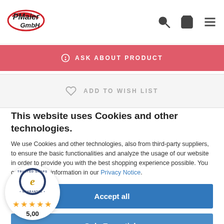P.Maier GmbH logo with search, basket, and menu icons
ASK ABOUT PRODUCT
ADD TO WISH LIST
This website uses Cookies and other technologies.
We use Cookies and other technologies, also from third-party suppliers, to ensure the basic functionalities and analyze the usage of our website in order to provide you with the best shopping experience possible. You can find more information in our Privacy Notice.
Accept all
Only Essentials
More options
[Figure (logo): Trusted Shops Guarantee badge with 5 gold stars and rating 5,00]